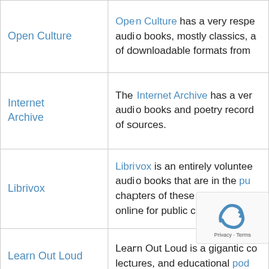| Source | Description |
| --- | --- |
| Open Culture | Open Culture has a very respe audio books, mostly classics, a of downloadable formats from |
| Internet Archive | The Internet Archive has a ver audio books and poetry record of sources. |
| Librivox | Librivox is an entirely voluntee audio books that are in the pu chapters of these books, and t online for public consumption. |
| Learn Out Loud | Learn Out Loud is a gigantic co lectures, and educational pod |
| Project Gutenberg | Project Gutenberg one the Web, offering thou both to read and to listen to. |